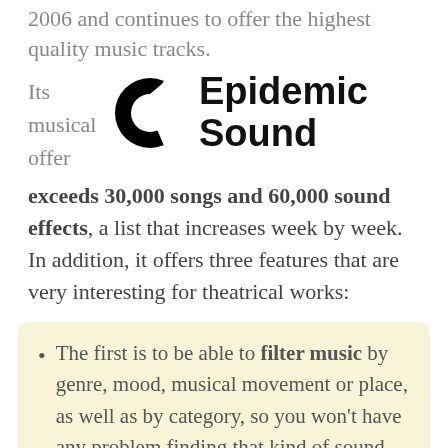2006 and continues to offer the highest quality music tracks.
Its musical offer
[Figure (logo): Epidemic Sound logo: a stylized black C-shaped icon with a curved triangle cutout, next to the bold text 'Epidemic Sound']
exceeds 30,000 songs and 60,000 sound effects, a list that increases week by week. In addition, it offers three features that are very interesting for theatrical works:
The first is to be able to filter music by genre, mood, musical movement or place, as well as by category, so you won't have any problem finding that kind of sound you are looking for.